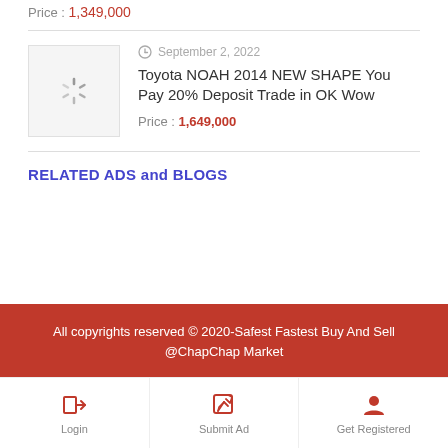Price : 1,349,000
[Figure (screenshot): Loading spinner thumbnail placeholder for car listing]
September 2, 2022
Toyota NOAH 2014 NEW SHAPE You Pay 20% Deposit Trade in OK Wow
Price : 1,649,000
RELATED ADS and BLOGS
All copyrights reserved © 2020-Safest Fastest Buy And Sell @ChapChap Market
Login
Submit Ad
Get Registered